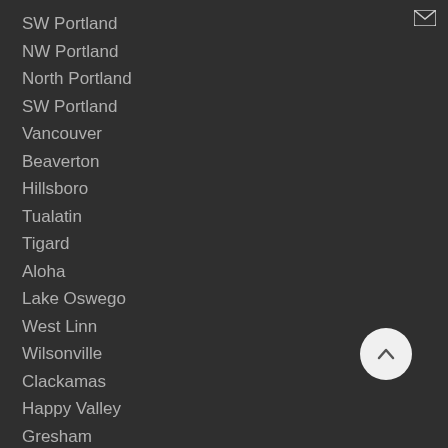SW Portland
NW Portland
North Portland
SW Portland
Vancouver
Beaverton
Hillsboro
Tualatin
Tigard
Aloha
Lake Oswego
West Linn
Wilsonville
Clackamas
Happy Valley
Gresham
Vancouver(all Clark County)
and more...